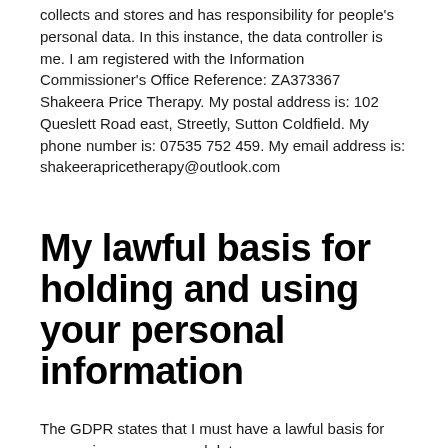collects and stores and has responsibility for people's personal data. In this instance, the data controller is me. I am registered with the Information Commissioner's Office Reference: ZA373367
Shakeera Price Therapy. My postal address is: 102 Queslett Road east, Streetly, Sutton Coldfield. My phone number is: 07535 752 459. My email address is: shakeerapricetherapy@outlook.com
My lawful basis for holding and using your personal information
The GDPR states that I must have a lawful basis for processing your personal data.